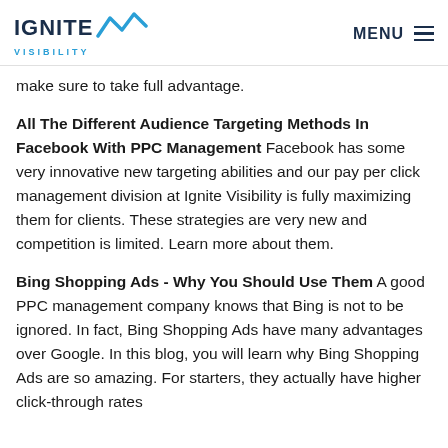IGNITE VISIBILITY | MENU
make sure to take full advantage.
All The Different Audience Targeting Methods In Facebook With PPC Management Facebook has some very innovative new targeting abilities and our pay per click management division at Ignite Visibility is fully maximizing them for clients. These strategies are very new and competition is limited. Learn more about them.
Bing Shopping Ads - Why You Should Use Them A good PPC management company knows that Bing is not to be ignored. In fact, Bing Shopping Ads have many advantages over Google. In this blog, you will learn why Bing Shopping Ads are so amazing. For starters, they actually have higher click-through rates